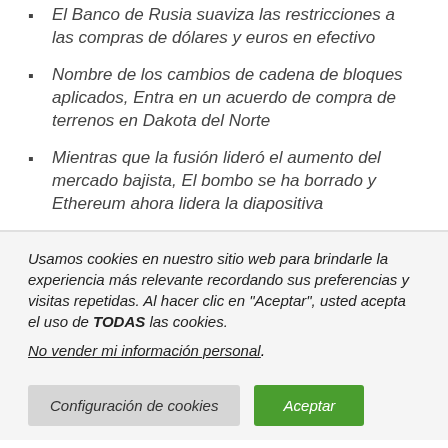El Banco de Rusia suaviza las restricciones a las compras de dólares y euros en efectivo
Nombre de los cambios de cadena de bloques aplicados, Entra en un acuerdo de compra de terrenos en Dakota del Norte
Mientras que la fusión lideró el aumento del mercado bajista, El bombo se ha borrado y Ethereum ahora lidera la diapositiva
Usamos cookies en nuestro sitio web para brindarle la experiencia más relevante recordando sus preferencias y visitas repetidas. Al hacer clic en "Aceptar", usted acepta el uso de TODAS las cookies.
No vender mi información personal.